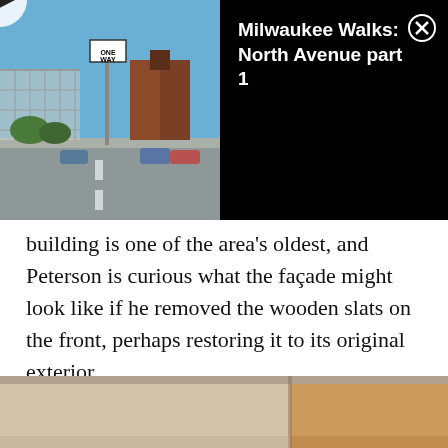[Figure (screenshot): Embedded video player showing a street scene thumbnail on the left (outdoor urban intersection with signs and buildings), and a black right panel with the title 'Milwaukee Walks: North Avenue part 1' and a close (X) button in the top right corner.]
building is one of the area's oldest, and Peterson is curious what the façade might look like if he removed the wooden slats on the front, perhaps restoring it to its original exterior.
In the meantime, he's just going to keep My Office as much the same as possible: a comfortable, carefree bar and restaurant, a true and treasured Downtown dive.
[Figure (photo): Partial bottom image showing the interior of what appears to be a bar or restaurant — a room with cream/tan walls and dim warm lighting visible.]